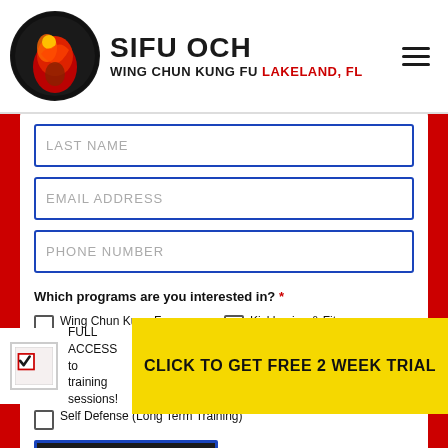SIFU OCH WING CHUN KUNG FU Lakeland, FL
LAST NAME
EMAIL ADDRESS
PHONE NUMBER
Which programs are you interested in? *
Wing Chun Kung Fu
Kickboxing & Fitness Bootcamp
Kids Martial Arts (Ages 5-14+)
Little Lions Martial Arts (Ages 3-5+)
Self Defense (Long Term Training)
SUBMIT
FULL ACCESS to training sessions!
CLICK TO GET FREE 2 WEEK TRIAL